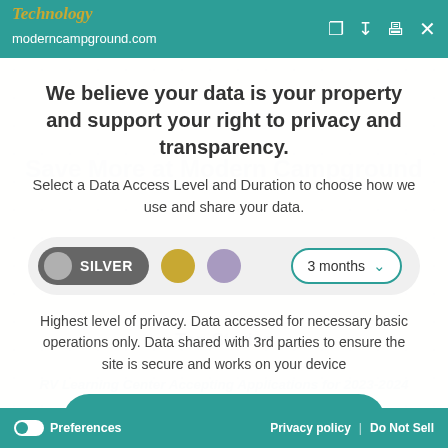Technology | moderncampground.com
We believe your data is your property and support your right to privacy and transparency.
Select a Data Access Level and Duration to choose how we use and share your data.
[Figure (infographic): Privacy level selector showing SILVER toggle (active, dark grey), gold dot, purple dot, and a 3 months dropdown]
Highest level of privacy. Data accessed for necessary basic operations only. Data shared with 3rd parties to ensure the site is secure and works on your device
Save my preferences
Preferences | Privacy policy | Do Not Sell